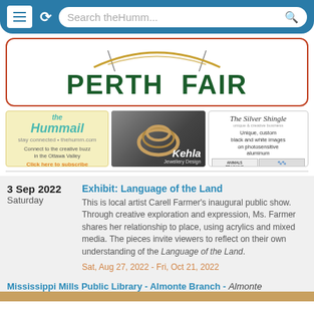[Figure (screenshot): Mobile browser search bar with hamburger menu, reload button, and search field showing 'Search theHumm...']
[Figure (logo): Perth Fair banner logo with wheat graphic and dark green bold text]
[Figure (advertisement): Three advertisement banners: theHummail subscription ad, Kehla Jewellery Design ad, and The Silver Shingle ad]
3 Sep 2022
Saturday
Exhibit: Language of the Land
This is local artist Carell Farmer's inaugural public show. Through creative exploration and expression, Ms. Farmer shares her relationship to place, using acrylics and mixed media. The pieces invite viewers to reflect on their own understanding of the Language of the Land.
Sat, Aug 27, 2022 - Fri, Oct 21, 2022
Mississippi Mills Public Library - Almonte Branch - Almonte